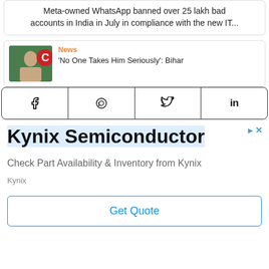Meta-owned WhatsApp banned over 25 lakh bad accounts in India in July in compliance with the new IT...
News
'No One Takes Him Seriously': Bihar
[Figure (screenshot): Social share bar with Facebook, WhatsApp, Twitter, LinkedIn buttons]
[Figure (screenshot): Advertisement for Kynix Semiconductor with Get Quote button]
Kynix Semiconductor
Check Part Availability & Inventory from Kynix
Kynix
Get Quote